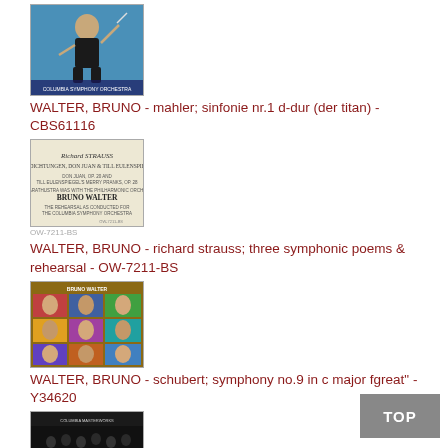[Figure (photo): Album cover for Bruno Walter / Mahler Symphony No.1 - conductor on blue background with Columbia Symphony Orchestra text]
WALTER, BRUNO - mahler; sinfonie nr.1 d-dur (der titan) - CBS61116
[Figure (photo): Album cover for Bruno Walter / Richard Strauss - Three Symphonic Poems & Rehearsal, text-based cream cover]
WALTER, BRUNO - richard strauss; three symphonic poems & rehearsal - OW-7211-BS
[Figure (photo): Album cover for Bruno Walter / Schubert Symphony No.9 - colorful Andy Warhol-style grid of composer portraits]
WALTER, BRUNO - schubert; symphony no.9 in c major fgreat" - Y34620
[Figure (photo): Partial album cover visible at bottom - dark background with orchestra]